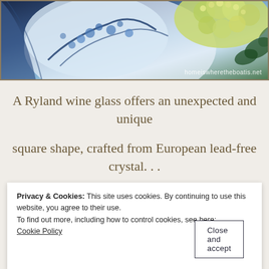[Figure (photo): Blue and white floral patterned fabric/china with yellow-green hydrangea flowers, watermark text 'homeiswheretheboatis.net']
A Ryland wine glass offers an unexpected and unique
square shape, crafted from European lead-free crystal. . .
[Figure (photo): Partial view of a table setting with blue tones, partially obscured by cookie consent banner]
Privacy & Cookies: This site uses cookies. By continuing to use this website, you agree to their use.
To find out more, including how to control cookies, see here:
Cookie Policy
[Close and accept button]